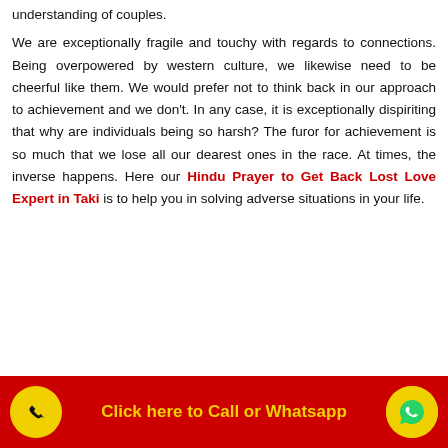understanding of couples.

We are exceptionally fragile and touchy with regards to connections. Being overpowered by western culture, we likewise need to be cheerful like them. We would prefer not to think back in our approach to achievement and we don't. In any case, it is exceptionally dispiriting that why are individuals being so harsh? The furor for achievement is so much that we lose all our dearest ones in the race. At times, the inverse happens. Here our Hindu Prayer to Get Back Lost Love Expert in Taki is to help you in solving adverse situations in your life.
Click here to Call or Whatsapp